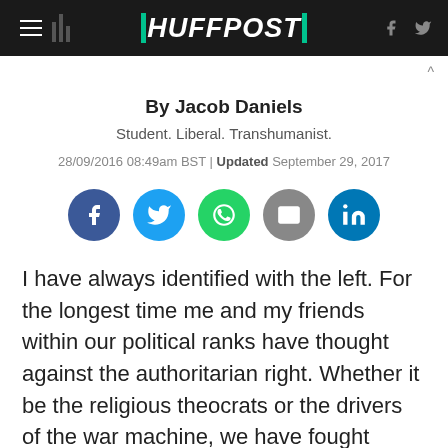HUFFPOST
By Jacob Daniels
Student. Liberal. Transhumanist.
28/09/2016 08:49am BST | Updated September 29, 2017
[Figure (infographic): Social sharing icons row: Facebook, Twitter, WhatsApp, Email, LinkedIn]
I have always identified with the left. For the longest time me and my friends within our political ranks have thought against the authoritarian right. Whether it be the religious theocrats or the drivers of the war machine, we have fought against these enemies and won...